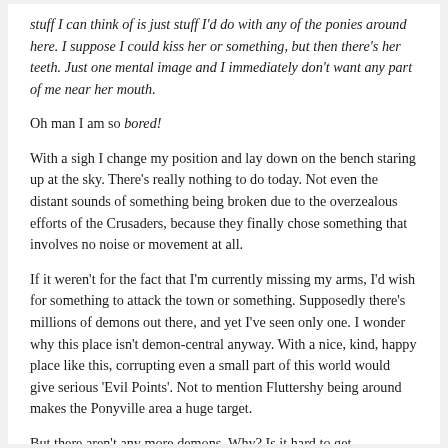stuff I can think of is just stuff I'd do with any of the ponies around here. I suppose I could kiss her or something, but then there's her teeth. Just one mental image and I immediately don't want any part of me near her mouth.
Oh man I am so bored!
With a sigh I change my position and lay down on the bench staring up at the sky. There's really nothing to do today. Not even the distant sounds of something being broken due to the overzealous efforts of the Crusaders, because they finally chose something that involves no noise or movement at all.
If it weren't for the fact that I'm currently missing my arms, I'd wish for something to attack the town or something. Supposedly there's millions of demons out there, and yet I've seen only one. I wonder why this place isn't demon-central anyway. With a nice, kind, happy place like this, corrupting even a small part of this world would give serious 'Evil Points'. Not to mention Fluttershy being around makes the Ponyville area a huge target.
But there aren't any more demons. Why? Is it hard to get